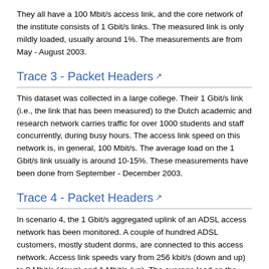They all have a 100 Mbit/s access link, and the core network of the institute consists of 1 Gbit/s links. The measured link is only mildly loaded, usually around 1%. The measurements are from May - August 2003.
Trace 3 - Packet Headers
This dataset was collected in a large college. Their 1 Gbit/s link (i.e., the link that has been measured) to the Dutch academic and research network carries traffic for over 1000 students and staff concurrently, during busy hours. The access link speed on this network is, in general, 100 Mbit/s. The average load on the 1 Gbit/s link usually is around 10-15%. These measurements have been done from September - December 2003.
Trace 4 - Packet Headers
In scenario 4, the 1 Gbit/s aggregated uplink of an ADSL access network has been monitored. A couple of hundred ADSL customers, mostly student dorms, are connected to this access network. Access link speeds vary from 256 kbit/s (down and up) to 8 Mbit/s (down) and 1 Mbit/s (up). The average load on the aggregated uplink is around 150 Mbit/s. These measurements are from February - July 2004.
Trace 5 - Packet Headers
The dataset Packet Headers 5 was collected in a hosting provider, i.e. a